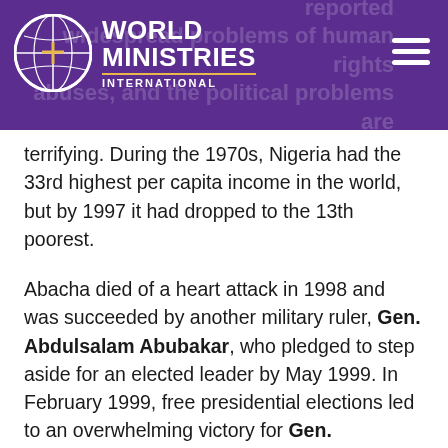World Ministries International
terrifying. During the 1970s, Nigeria had the 33rd highest per capita income in the world, but by 1997 it had dropped to the 13th poorest.
Abacha died of a heart attack in 1998 and was succeeded by another military ruler, Gen. Abdulsalam Abubakar, who pledged to step aside for an elected leader by May 1999. In February 1999, free presidential elections led to an overwhelming victory for Gen. Olusegun Obasanjo, a former member of the military elite who was imprisoned for three years for criticizing the military rule. In April 2003, Obasanjo was re-elected